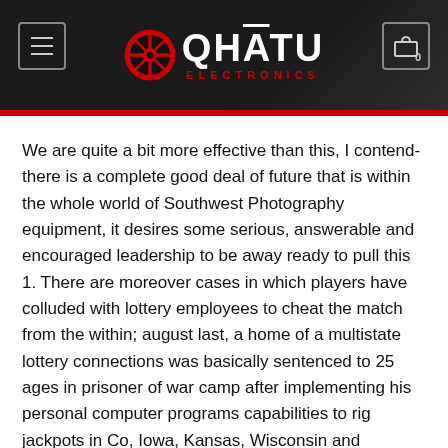QHATU ELECTRONICS
We are quite a bit more effective than this, I contend-there is a complete good deal of future that is within the whole world of Southwest Photography equipment, it desires some serious, answerable and encouraged leadership to be away ready to pull this 1. There are moreover cases in which players have colluded with lottery employees to cheat the match from the within; august last, a home of a multistate lottery connections was basically sentenced to 25 ages in prisoner of war camp after implementing his personal computer programs capabilities to rig jackpots in Co, Iowa, Kansas, Wisconsin and Oklahoma, funneling $2.2 million to himself and his brother.